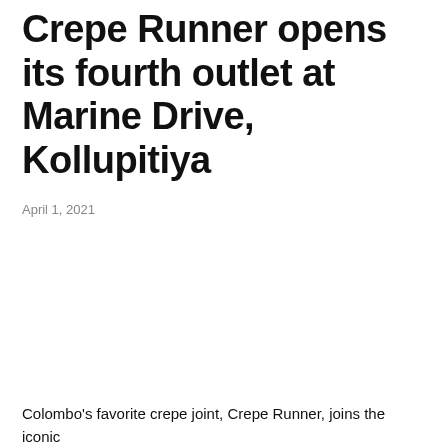Crepe Runner opens its fourth outlet at Marine Drive, Kollupitiya
April 1, 2021
Colombo's favorite crepe joint, Crepe Runner, joins the iconic